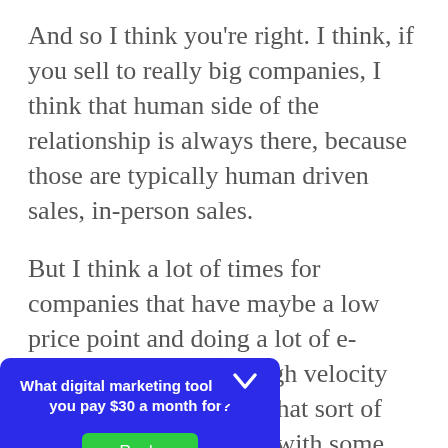And so I think you're right. I think, if you sell to really big companies, I think that human side of the relationship is always there, because those are typically human driven sales, in-person sales.
But I think a lot of times for companies that have maybe a low price point and doing a lot of e-commerce or a lot of high velocity sales, they miss out on that sort of one-to-one relationship with some executives. And certainly, we had a ton of customers. It's not possible for me to know t[hat I knew, a]t our head o[f] dful that...
[Figure (screenshot): A popup dialog box with blue background containing the question 'What digital marketing tool would you pay $30 a month for?' and a green 'Reply' button. A chevron/collapse button appears at the top right of the popup.]